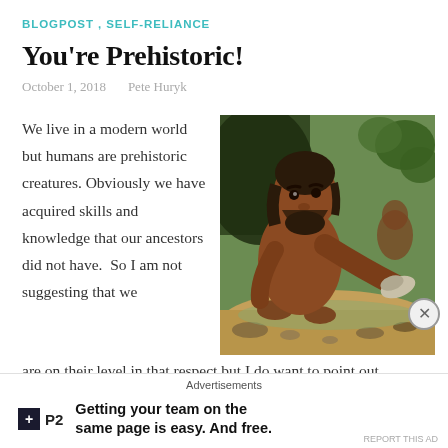BLOGPOST, SELF-RELIANCE
You're Prehistoric!
October 1, 2018   Pete Huryk
We live in a modern world but humans are prehistoric creatures. Obviously we have acquired skills and knowledge that our ancestors did not have.  So I am not suggesting that we are on their level in that respect but I do want to point out
[Figure (illustration): Painted illustration of a prehistoric caveman crouching near rocks, holding a stone tool, with rocky/cave background]
Advertisements
[Figure (infographic): P2 advertisement: Getting your team on the same page is easy. And free.]